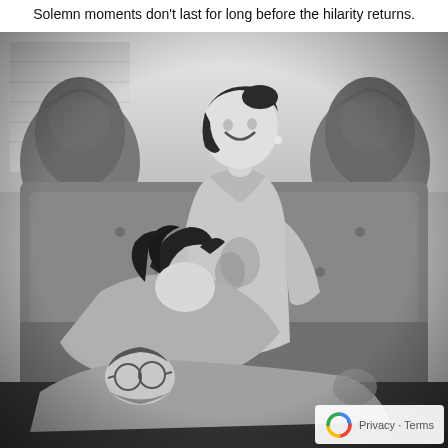Solemn moments don't last for long before the hilarity returns.
[Figure (photo): Black and white photograph of two women on an ornate sofa. One woman in a satin halter dress is sitting upright, laughing and looking down. Another woman is reclining across her lap laughing. A man wearing glasses is lying across the bottom, looking up.]
Privacy · Terms